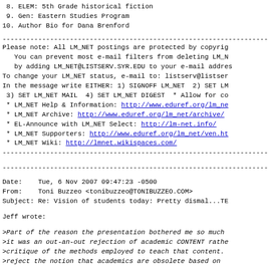8. ELEM: 5th Grade historical fiction
9. Gen: Eastern Studies Program
10. Author Bio for Dana Brenford
------------------------------------------------------------------------
Please note: All LM_NET postings are protected by copyrig
   You can prevent most e-mail filters from deleting LM_N
   by adding LM_NET@LISTSERV.SYR.EDU to your e-mail addres
To change your LM_NET status, e-mail to: listserv@listser
In the message write EITHER: 1) SIGNOFF LM_NET  2) SET LM
 3) SET LM_NET MAIL  4) SET LM_NET DIGEST  * Allow for co
 * LM_NET Help & Information: http://www.eduref.org/lm_ne
 * LM_NET Archive: http://www.eduref.org/lm_net/archive/
 * EL-Announce with LM_NET Select: http://lm-net.info/
 * LM_NET Supporters: http://www.eduref.org/lm_net/ven.ht
 * LM_NET Wiki: http://lmnet.wikispaces.com/
------------------------------------------------------------------------
------------------------------------------------------------------------
Date:    Tue, 6 Nov 2007 09:47:23 -0500
From:    Toni Buzzeo <tonibuzzeo@TONIBUZZEO.COM>
Subject: Re: Vision of students today: Pretty dismal...TE
Jeff wrote:
>Part of the reason the presentation bothered me so much
>it was an out-an-out rejection of academic CONTENT rathe
>critique of the methods employed to teach that content.
>reject the notion that academics are obsolete based on